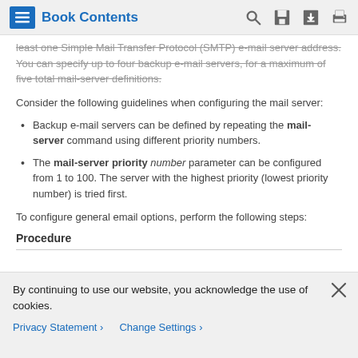Book Contents
least one Simple Mail Transfer Protocol (SMTP) e-mail server address. You can specify up to four backup e-mail servers, for a maximum of five total mail-server definitions.
Consider the following guidelines when configuring the mail server:
Backup e-mail servers can be defined by repeating the mail-server command using different priority numbers.
The mail-server priority number parameter can be configured from 1 to 100. The server with the highest priority (lowest priority number) is tried first.
To configure general email options, perform the following steps:
Procedure
By continuing to use our website, you acknowledge the use of cookies.